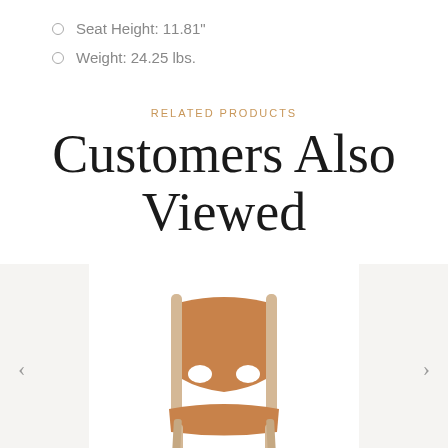Seat Height: 11.81"
Weight: 24.25 lbs.
RELATED PRODUCTS
Customers Also Viewed
[Figure (photo): A wooden chair with tan/cognac leather seat and back, viewed from the front, on a white background within a light gray product carousel area. Left and right navigation arrows are visible.]